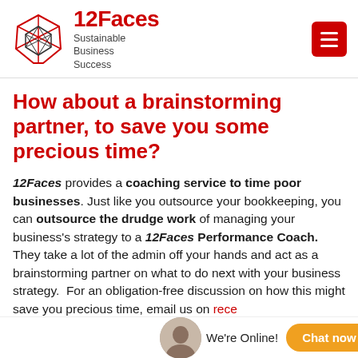[Figure (logo): 12Faces Sustainable Business Success logo with geometric icosahedron shape in red and black, and bold text '12Faces' with subtitle 'Sustainable Business Success']
How about a brainstorming partner, to save you some precious time?
12Faces provides a coaching service to time poor businesses. Just like you outsource your bookkeeping, you can outsource the drudge work of managing your business's strategy to a 12Faces Performance Coach. They take a lot of the admin off your hands and act as a brainstorming partner on what to do next with your business strategy. For an obligation-free discussion on how this might save you precious time, email us on rece…